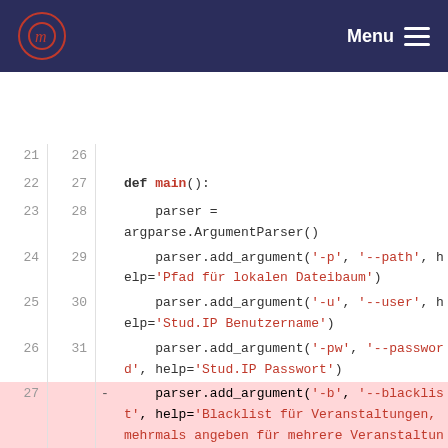Menu
[Figure (screenshot): Code diff view showing Python source code with line numbers, deleted lines highlighted in pink and added lines in green. The code shows a main() function using argparse with multiple add_argument calls.]